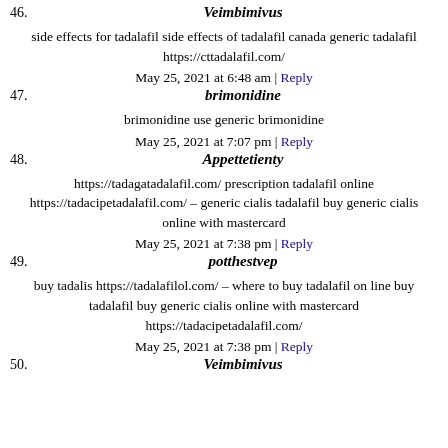46. Veimbimivus
side effects for tadalafil side effects of tadalafil canada generic tadalafil https://cttadalafil.com/
May 25, 2021 at 6:48 am | Reply
47. brimonidine
brimonidine use generic brimonidine
May 25, 2021 at 7:07 pm | Reply
48. Appettetienty
https://tadagatadalafil.com/ prescription tadalafil online https://tadacipetadalafil.com/ – generic cialis tadalafil buy generic cialis online with mastercard
May 25, 2021 at 7:38 pm | Reply
49. potthestvep
buy tadalis https://tadalafilol.com/ – where to buy tadalafil on line buy tadalafil buy generic cialis online with mastercard https://tadacipetadalafil.com/
May 25, 2021 at 7:38 pm | Reply
50. Veimbimivus